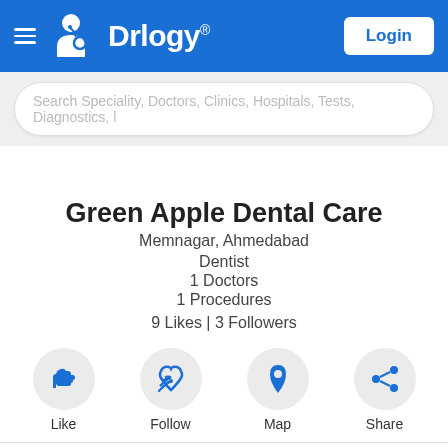Drlogy® Login
Search Speciality, Doctors, Clinics, Hospitals, Tests, Diagnostics, l
Green Apple Dental Care
Memnagar, Ahmedabad
Dentist
1 Doctors
1 Procedures
9 Likes | 3 Followers
[Figure (infographic): Four action buttons in circles: Like (thumbs up icon), Follow (wifi/signal icon), Map (location pin icon), Share (share icon)]
Info  Doctors  Procedures  Amenities  Questions